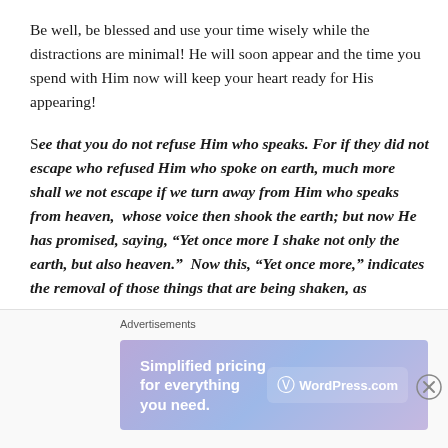Be well, be blessed and use your time wisely while the distractions are minimal! He will soon appear and the time you spend with Him now will keep your heart ready for His appearing!
See that you do not refuse Him who speaks. For if they did not escape who refused Him who spoke on earth, much more shall we not escape if we turn away from Him who speaks from heaven,  whose voice then shook the earth; but now He has promised, saying, “Yet once more I shake not only the earth, but also heaven.”  Now this, “Yet once more,” indicates the removal of those things that are being shaken, as
Advertisements
[Figure (screenshot): WordPress.com advertisement banner: 'Simplified pricing for everything you need.' with WordPress.com logo on gradient purple-blue background]